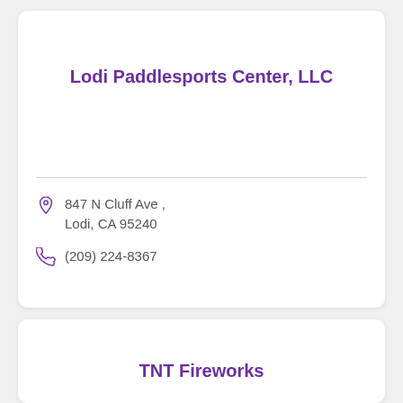Lodi Paddlesports Center, LLC
847 N Cluff Ave , Lodi, CA 95240
(209) 224-8367
TNT Fireworks